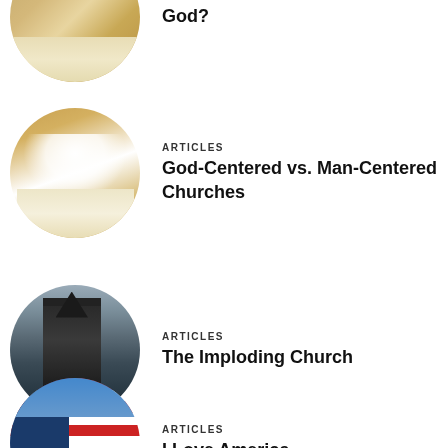[Figure (photo): Circular cropped photo of an open Bible with warm brown/gold tones, partially visible at top of page]
[Figure (photo): Circular cropped photo of an open Bible with bright light shining from behind, warm golden church pew colors]
ARTICLES
God-Centered vs. Man-Centered Churches
[Figure (photo): Circular cropped black and white photo of an old church building with dramatic cloudy sky]
ARTICLES
The Imploding Church
[Figure (photo): Circular cropped photo of an American flag waving against a blue sky, partially visible at bottom of page]
ARTICLES
I Love America